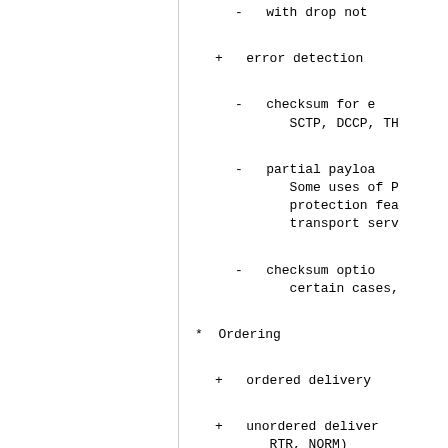- with drop not
+ error detection
- checksum for e SCTP, DCCP, TH
- partial payloa Some uses of P protection fea transport serv
- checksum optio certain cases,
* Ordering
+ ordered delivery
+ unordered deliver RTR, NORM)